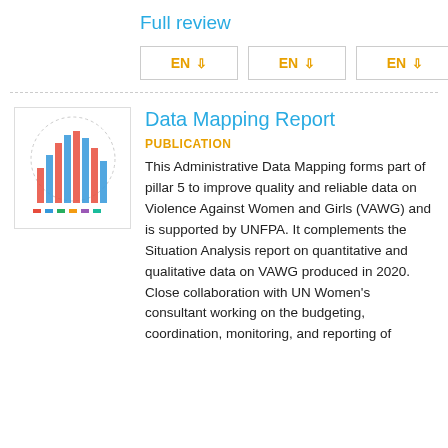Full review
[Figure (other): Three EN download buttons with downward arrows in orange, each in a bordered box]
[Figure (illustration): Thumbnail image of a bar chart report cover with colorful vertical bars and a dotted circular border]
Data Mapping Report
PUBLICATION
This Administrative Data Mapping forms part of pillar 5 to improve quality and reliable data on Violence Against Women and Girls (VAWG) and is supported by UNFPA. It complements the Situation Analysis report on quantitative and qualitative data on VAWG produced in 2020. Close collaboration with UN Women's consultant working on the budgeting, coordination, monitoring, and reporting of